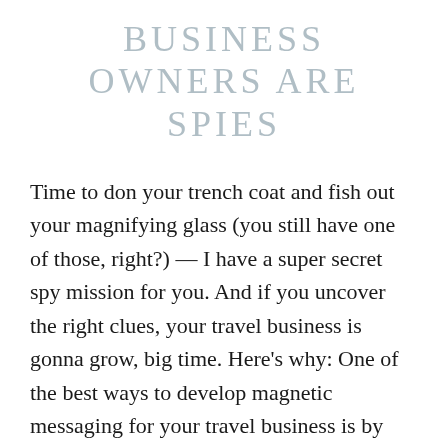BUSINESS OWNERS ARE SPIES
Time to don your trench coat and fish out your magnifying glass (you still have one of those, right?) — I have a super secret spy mission for you. And if you uncover the right clues, your travel business is gonna grow, big time. Here's why: One of the best ways to develop magnetic messaging for your travel business is by doing a little detective work. Sniff out the trail and then